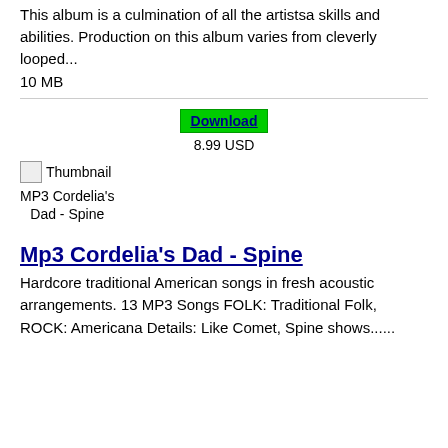This album is a culmination of all the artistsa skills and abilities. Production on this album varies from cleverly looped...
10 MB
[Figure (other): Green Download button with dark blue underlined text]
8.99 USD
[Figure (photo): Broken image thumbnail with label: MP3 Cordelia's Dad - Spine]
Mp3 Cordelia's Dad - Spine
Hardcore traditional American songs in fresh acoustic arrangements. 13 MP3 Songs FOLK: Traditional Folk, ROCK: Americana Details: Like Comet, Spine shows......